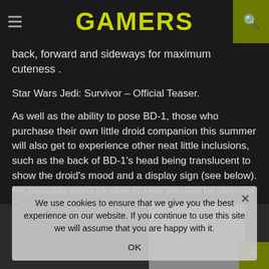GAMERS
back, forward and sideways for maximum cuteness .
Star Wars Jedi: Survivor – Official Teaser.
As well as the ability to pose BD-1, those who purchase their own little droid companion this summer will also get to experience other neat little inclusions, such as the back of BD-1's head being translucent to show the droid's mood and a display sign (see below). He probably won't be able to heal you like he does for Cal, however.
We use cookies to ensure that we give you the best experience on our website. If you continue to use this site we will assume that you are happy with it.
OK
[Figure (photo): Photo of BD-1 droid robot toy figure on grey background]